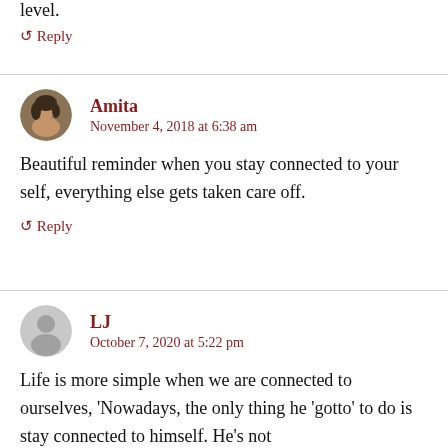level.
↺ Reply
Amita
November 4, 2018 at 6:38 am
Beautiful reminder when you stay connected to your self, everything else gets taken care off.
↺ Reply
LJ
October 7, 2020 at 5:22 pm
Life is more simple when we are connected to ourselves, 'Nowadays, the only thing he 'gotto' to do is stay connected to himself. He's not…